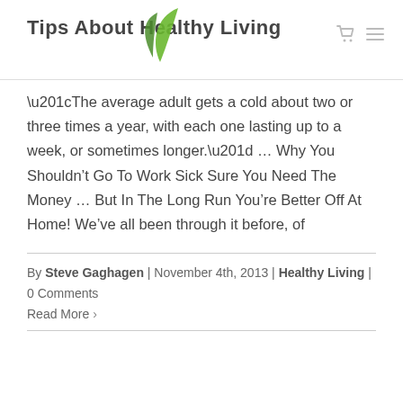Tips About Healthy Living
“The average adult gets a cold about two or three times a year, with each one lasting up to a week, or sometimes longer.” … Why You Shouldn’t Go To Work Sick Sure You Need The Money … But In The Long Run You’re Better Off At Home! We’ve all been through it before, of
By Steve Gaghagen | November 4th, 2013 | Healthy Living | 0 Comments
Read More >